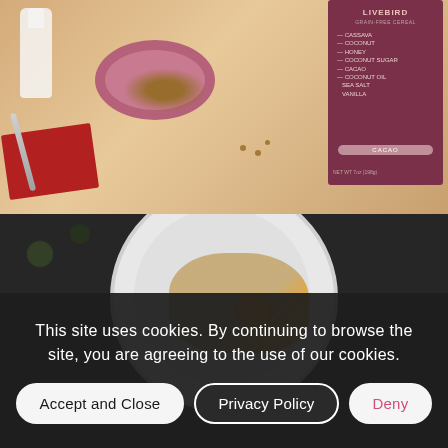[Figure (photo): Top-down lifestyle photo of a cereal bowl scene: pink bowl filled with chocolate cereal rounds, a milk bottle, red napkin, spoon, and a dark mauve/burgundy cereal box labeled LIVEBIRD grain-free cereal with ingredients: CASSAVA, COCONUT, HONEY, COCONUT SUGAR, CACAO, COCONUT OIL, SEA SALT, VANILLA. Flavor label reads CACAO.]
[Figure (photo): Top-down photo of a white bowl containing food (appears to be oatmeal or porridge with a fried/poached egg), set on a dark patterned background.]
This site uses cookies. By continuing to browse the site, you are agreeing to the use of our cookies.
Accept and Close
Privacy Policy
Deny